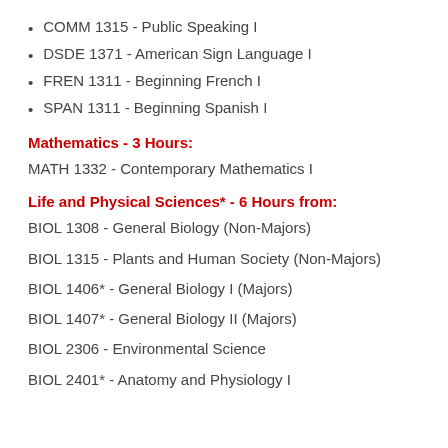COMM 1315 - Public Speaking I
DSDE 1371 - American Sign Language I
FREN 1311 - Beginning French I
SPAN 1311 - Beginning Spanish I
Mathematics - 3 Hours:
MATH 1332 - Contemporary Mathematics I
Life and Physical Sciences* - 6 Hours from:
BIOL 1308 - General Biology (Non-Majors)
BIOL 1315 - Plants and Human Society (Non-Majors)
BIOL 1406* - General Biology I (Majors)
BIOL 1407* - General Biology II (Majors)
BIOL 2306 - Environmental Science
BIOL 2401* - Anatomy and Physiology I